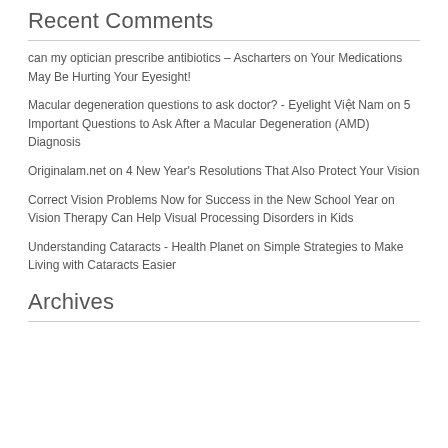Recent Comments
can my optician prescribe antibiotics – Ascharters on Your Medications May Be Hurting Your Eyesight!
Macular degeneration questions to ask doctor? - Eyelight Việt Nam on 5 Important Questions to Ask After a Macular Degeneration (AMD) Diagnosis
Originalam.net on 4 New Year's Resolutions That Also Protect Your Vision
Correct Vision Problems Now for Success in the New School Year on Vision Therapy Can Help Visual Processing Disorders in Kids
Understanding Cataracts - Health Planet on Simple Strategies to Make Living with Cataracts Easier
Archives